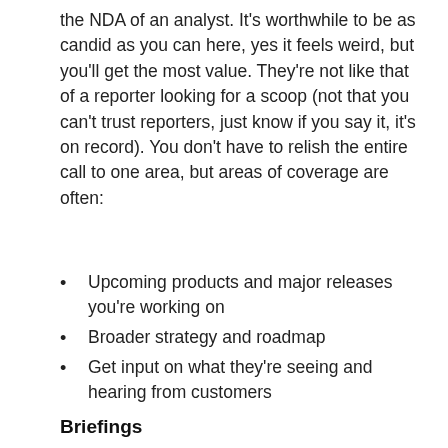the NDA of an analyst. It's worthwhile to be as candid as you can here, yes it feels weird, but you'll get the most value. They're not like that of a reporter looking for a scoop (not that you can't trust reporters, just know if you say it, it's on record). You don't have to relish the entire call to one area, but areas of coverage are often:
Upcoming products and major releases you're working on
Broader strategy and roadmap
Get input on what they're seeing and hearing from customers
Briefings